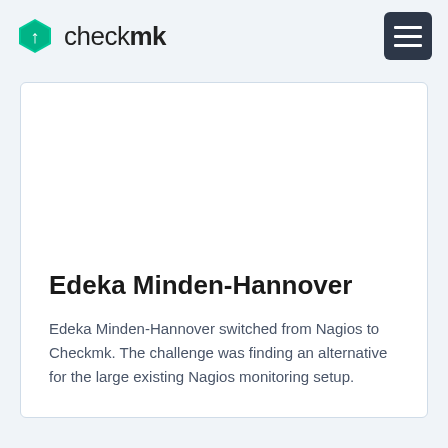checkmk
Edeka Minden-Hannover
Edeka Minden-Hannover switched from Nagios to Checkmk. The challenge was finding an alternative for the large existing Nagios monitoring setup.